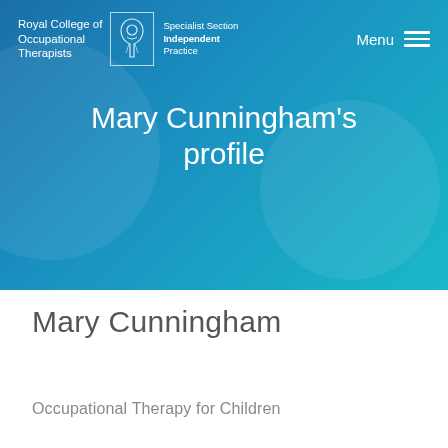[Figure (screenshot): Royal College of Occupational Therapists – Specialist Section Independent Practice website header banner with teal-blue gradient background, RCOT logo, and navigation menu]
Mary Cunningham's profile
Mary Cunningham
Occupational Therapy for Children